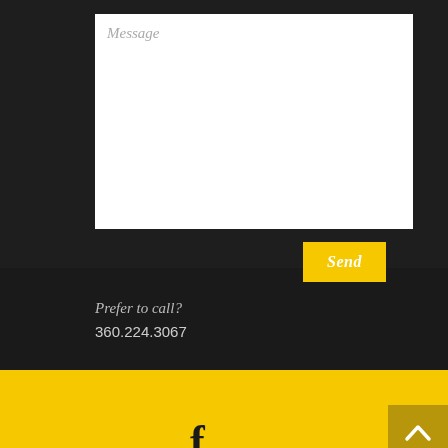Message
Send
Prefer to call?
360.224.3067
[Figure (illustration): Facebook social media icon (lowercase f)]
[Figure (illustration): Back to top arrow button (upward chevron) on dark gold/olive background]
© 2019 BY STORIED CREATIVE SERVICES. PROUDLY CREATED WITH WIX.COM